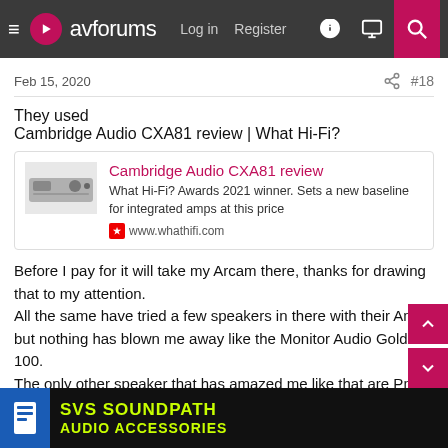avforums — Log in | Register
Feb 15, 2020  #18
They used
Cambridge Audio CXA81 review | What Hi-Fi?
[Figure (screenshot): Link card preview for Cambridge Audio CXA81 review on whathifi.com. Shows product image, title in pink, description 'What Hi-Fi? Awards 2021 winner. Sets a new baseline for integrated amps at this price', and www.whathifi.com URL.]
Before I pay for it will take my Arcam there, thanks for drawing that to my attention.
All the same have tried a few speakers in there with their Amp but nothing has blown me away like the Monitor Audio Gold 100.
The only other speaker that has amazed me like that are Pmc twenty. 24 which is way out of my budget for now
[Figure (screenshot): Advertisement banner: SVS SOUNDPATH AUDIO ACCESSORIES on dark background with yellow-green text]